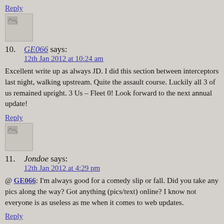Reply
[Figure (other): Broken avatar image placeholder for comment 10]
10. GE066 says:
12th Jan 2012 at 10:24 am
Excellent write up as always JD. I did this section between interceptors last night, walking upstream. Quite the assault course. Luckily all 3 of us remained upright. 3 Us – Fleet 0! Look forward to the next annual update!
Reply
[Figure (other): Broken avatar image placeholder for comment 11]
11. Jondoe says:
12th Jan 2012 at 4:29 pm
@ GE066: I'm always good for a comedy slip or fall. Did you take any pics along the way? Got anything (pics/text) online? I know not everyone is as useless as me when it comes to web updates.
Reply